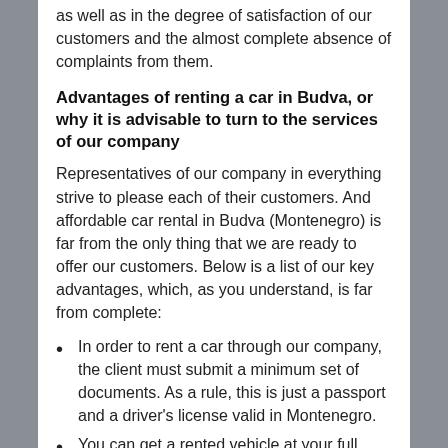as well as in the degree of satisfaction of our customers and the almost complete absence of complaints from them.
Advantages of renting a car in Budva, or why it is advisable to turn to the services of our company
Representatives of our company in everything strive to please each of their customers. And affordable car rental in Budva (Montenegro) is far from the only thing that we are ready to offer our customers. Below is a list of our key advantages, which, as you understand, is far from complete:
In order to rent a car through our company, the client must submit a minimum set of documents. As a rule, this is just a passport and a driver's license valid in Montenegro.
You can get a rented vehicle at your full disposal directly at the airport – immediately upon arrival in our country.